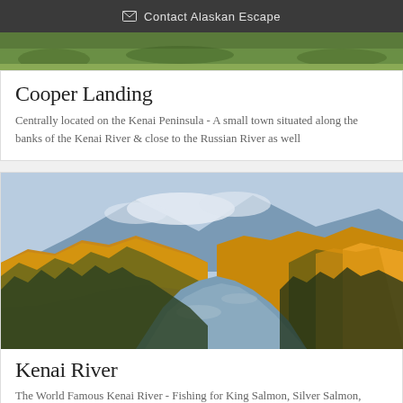Contact Alaskan Escape
[Figure (photo): Partial top of outdoor landscape photo (grass/meadow with trees)]
Cooper Landing
Centrally located on the Kenai Peninsula - A small town situated along the banks of the Kenai River & close to the Russian River as well
[Figure (photo): Autumn river landscape - Kenai River with golden fall foliage trees on steep hillsides and mountains in background]
Kenai River
The World Famous Kenai River - Fishing for King Salmon, Silver Salmon,